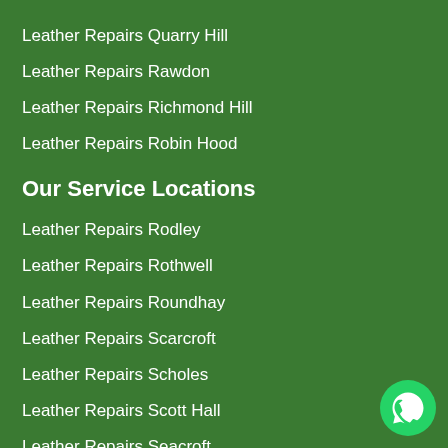Leather Repairs Quarry Hill
Leather Repairs Rawdon
Leather Repairs Richmond Hill
Leather Repairs Robin Hood
Our Service Locations
Leather Repairs Rodley
Leather Repairs Rothwell
Leather Repairs Roundhay
Leather Repairs Scarcroft
Leather Repairs Scholes
Leather Repairs Scott Hall
Leather Repairs Seacroft
Leather Repairs Shadwell
Leather Repairs Sheepscar
[Figure (logo): WhatsApp logo icon — white speech bubble with phone handset on green circle background]